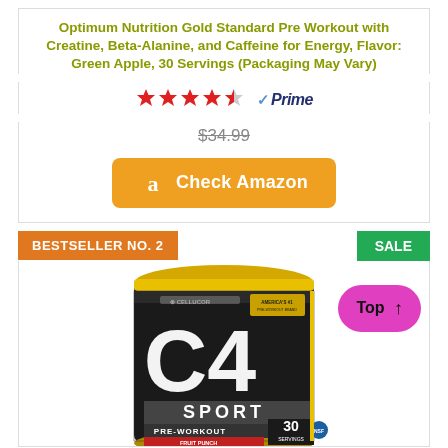Optimum Nutrition Gold Standard Pre Workout with Creatine, Beta-Alanine, and Caffeine for Energy, Flavor: Green Apple, 30 Servings (Packaging May Vary)
[Figure (other): Star rating showing approximately 4.5 stars in red with Amazon Prime badge]
$34.99 (strikethrough price)
[Figure (other): Orange Amazon button with 'a' logo and text 'Check Amazon']
BESTSELLER NO. 2
SALE
[Figure (photo): Cellucor C4 Sport Pre-Workout 30 servings supplement container in black and yellow, Fruit Punch flavor]
Top ↑